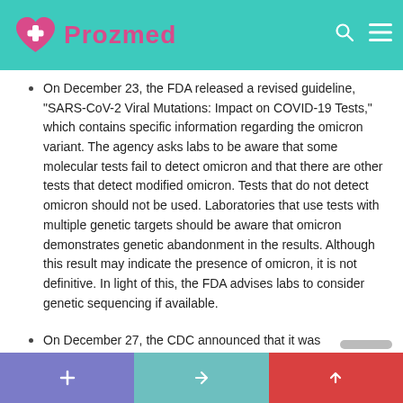Prozmed
On December 23, the FDA released a revised guideline, "SARS-CoV-2 Viral Mutations: Impact on COVID-19 Tests," which contains specific information regarding the omicron variant. The agency asks labs to be aware that some molecular tests fail to detect omicron and that there are other tests that detect modified omicron. Tests that do not detect omicron should not be used. Laboratories that use tests with multiple genetic targets should be aware that omicron demonstrates genetic abandonment in the results. Although this result may indicate the presence of omicron, it is not definitive. In light of this, the FDA advises labs to consider genetic sequencing if available.
On December 27, the CDC announced that it was recommending a five-day window for isolation and the use of masks for asymptomatic people with positive COVID-19 results. The CDC has also changed its recommendations for